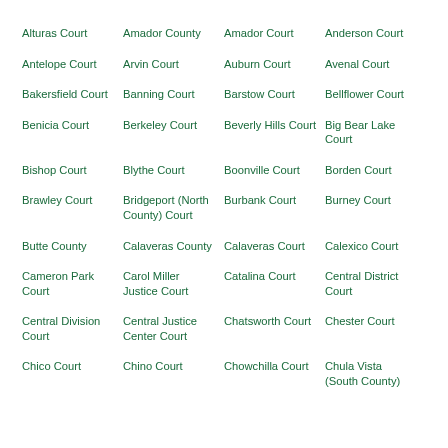Alturas Court
Amador County
Amador Court
Anderson Court
Antelope Court
Arvin Court
Auburn Court
Avenal Court
Bakersfield Court
Banning Court
Barstow Court
Bellflower Court
Benicia Court
Berkeley Court
Beverly Hills Court
Big Bear Lake Court
Bishop Court
Blythe Court
Boonville Court
Borden Court
Brawley Court
Bridgeport (North County) Court
Burbank Court
Burney Court
Butte County
Calaveras County
Calaveras Court
Calexico Court
Cameron Park Court
Carol Miller Justice Court
Catalina Court
Central District Court
Central Division Court
Central Justice Center Court
Chatsworth Court
Chester Court
Chico Court
Chino Court
Chowchilla Court
Chula Vista (South County)